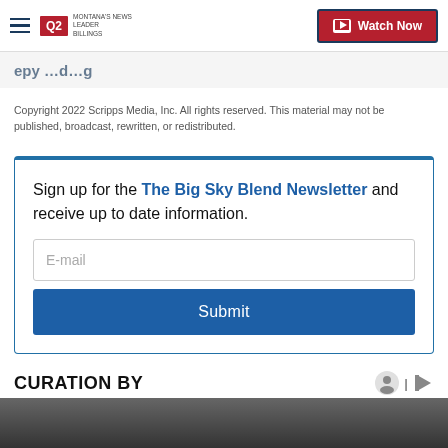Q2 Montana's News Leader | Watch Now
[partial headline visible]
Copyright 2022 Scripps Media, Inc. All rights reserved. This material may not be published, broadcast, rewritten, or redistributed.
Sign up for the The Big Sky Blend Newsletter and receive up to date information.
E-mail
Submit
CURATION BY